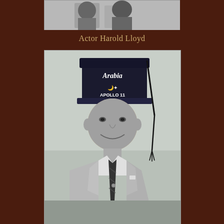[Figure (photo): Black and white photograph partially visible at the top of the page, cropped]
Actor Harold Lloyd
[Figure (photo): Black and white photograph of a man wearing a Shriner's fez hat reading 'Arabia Apollo 11', wearing a suit and tie, smiling]